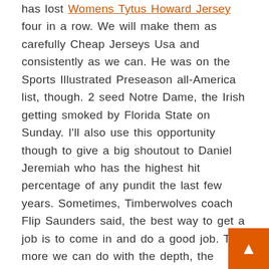has lost Womens Tytus Howard Jersey four in a row. We will make them as carefully Cheap Jerseys Usa and consistently as we can. He was on the Sports Illustrated Preseason all-America list, though. 2 seed Notre Dame, the Irish getting smoked by Florida State on Sunday. I'll also use this opportunity though to give a big shoutout to Daniel Jeremiah who has the highest hit percentage of any pundit the last few years. Sometimes, Timberwolves coach Flip Saunders said, the best way to get a job is to come in and do a good job. The more we can do with the depth, the better.
[Figure (other): Broken image placeholder followed by link: Authentic Youth Rene Robert Green Jersey - Hockey #14 Colorado Avalanche Salute To Service]
He ranked second on the Griffins in goals , assists and points at the time of his recall. Still, Croatia's GDP of http://www.houstontexanslockerroom.com/tytus-howard-jersey-wholesale $63 billion is closely Cheap Jerseys Usa in line with Delaware's $63 Baseball Jerseys For